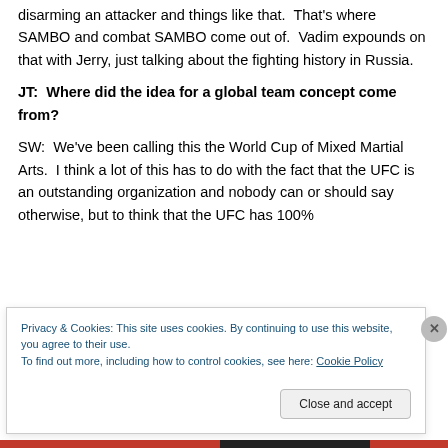disarming an attacker and things like that.  That's where SAMBO and combat SAMBO come out of.  Vadim expounds on that with Jerry, just talking about the fighting history in Russia.
JT:  Where did the idea for a global team concept come from?
SW:  We've been calling this the World Cup of Mixed Martial Arts.  I think a lot of this has to do with the fact that the UFC is an outstanding organization and nobody can or should say otherwise, but to think that the UFC has 100%
Privacy & Cookies: This site uses cookies. By continuing to use this website, you agree to their use.
To find out more, including how to control cookies, see here: Cookie Policy
Close and accept